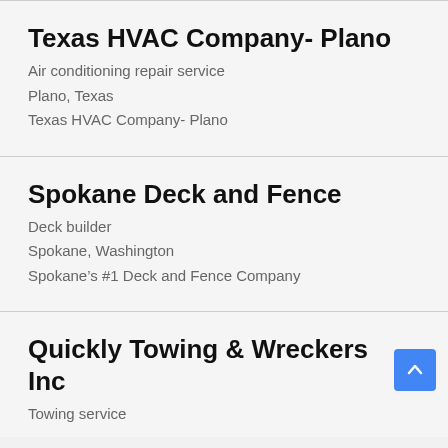Texas HVAC Company- Plano
Air conditioning repair service
Plano, Texas
Texas HVAC Company- Plano
Spokane Deck and Fence
Deck builder
Spokane, Washington
Spokane's #1 Deck and Fence Company
Quickly Towing & Wreckers Inc
Towing service